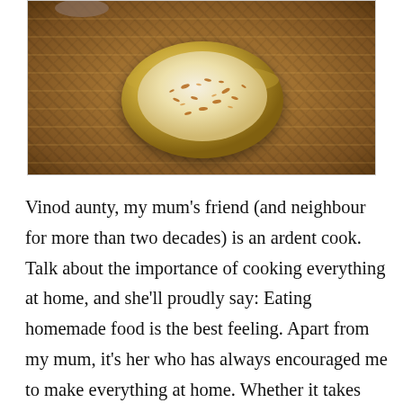[Figure (photo): Overhead view of a yellow/golden bowl with cream-colored contents (likely a milk or yogurt dish) topped with spices, placed on a woven bamboo mat. A hand or utensil is partially visible at the top.]
Vinod aunty, my mum's friend (and neighbour for more than two decades) is an ardent cook. Talk about the importance of cooking everything at home, and she'll proudly say: Eating homemade food is the best feeling. Apart from my mum, it's her who has always encouraged me to make everything at home. Whether it takes time or effort, it's all worth it. Originally from Udaipur, Vinod aunty has truly used her cooking talents–not to miss her